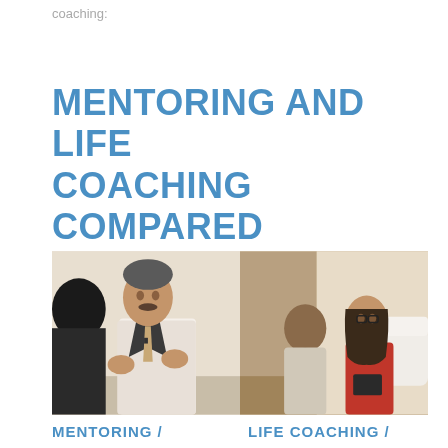coaching:
MENTORING AND LIFE COACHING COMPARED
[Figure (photo): Two side-by-side photos: left shows an older businessman in a suit gesturing while speaking to someone; right shows a woman in red dress with glasses sitting across from another person in a coaching session.]
MENTORING /
LIFE COACHING /